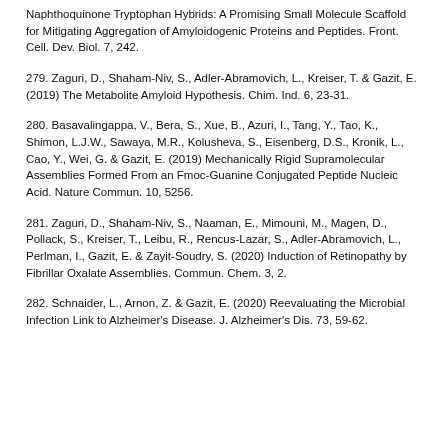Naphthoquinone Tryptophan Hybrids: A Promising Small Molecule Scaffold for Mitigating Aggregation of Amyloidogenic Proteins and Peptides. Front. Cell. Dev. Biol. 7, 242.
279. Zaguri, D., Shaham-Niv, S., Adler-Abramovich, L., Kreiser, T. & Gazit, E. (2019) The Metabolite Amyloid Hypothesis. Chim. Ind. 6, 23-31.
280. Basavalingappa, V., Bera, S., Xue, B., Azuri, I., Tang, Y., Tao, K., Shimon, L.J.W., Sawaya, M.R., Kolusheva, S., Eisenberg, D.S., Kronik, L., Cao, Y., Wei, G. & Gazit, E. (2019) Mechanically Rigid Supramolecular Assemblies Formed From an Fmoc-Guanine Conjugated Peptide Nucleic Acid. Nature Commun. 10, 5256.
281. Zaguri, D., Shaham-Niv, S., Naaman, E., Mimouni, M., Magen, D., Pollack, S., Kreiser, T., Leibu, R., Rencus-Lazar, S., Adler-Abramovich, L., Perlman, I., Gazit, E. & Zayit-Soudry, S. (2020) Induction of Retinopathy by Fibrillar Oxalate Assemblies. Commun. Chem. 3, 2.
282. Schnaider, L., Arnon, Z. & Gazit, E. (2020) Reevaluating the Microbial Infection Link to Alzheimer's Disease. J. Alzheimer's Dis. 73, 59-62.